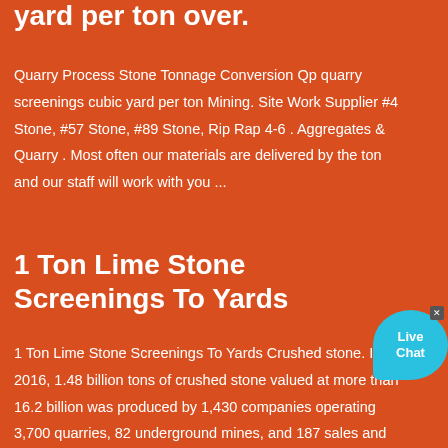yard per ton over.
Quarry Process Stone Tonnage Conversion Qp quarry screenings cubic yard per ton Mining. Site Work Supplier #4 Stone, #57 Stone, #89 Stone, Rip Rap 4-6 . Aggregates & Quarry . Most often our materials are delivered by the ton and our staff will work with you ...
1 Ton Lime Stone Screenings To Yards
1 Ton Lime Stone Screenings To Yards Crushed stone. In 2016, 1.48 billion tons of crushed stone valued at more than 16.2 billion was produced by 1,430 companies operating 3,700 quarries, 82 underground mines, and 187 sales and distribution yards in 50 states.